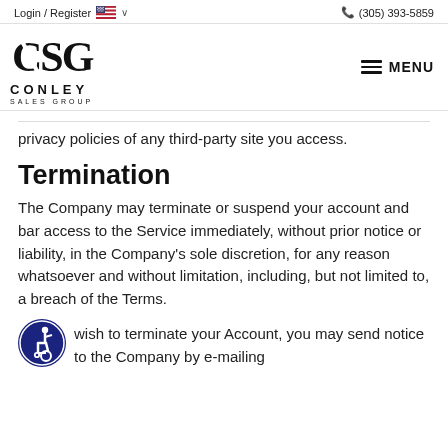Login / Register  🇺🇸 ∨   📞 (305) 393-5859
[Figure (logo): Conley Sales Group logo with stylized CSG letters and text CONLEY SALES GROUP, with MENU hamburger icon on the right]
privacy policies of any third-party site you access.
Termination
The Company may terminate or suspend your account and bar access to the Service immediately, without prior notice or liability, in the Company's sole discretion, for any reason whatsoever and without limitation, including, but not limited to, a breach of the Terms.
[Figure (logo): Accessibility icon in a blue circle showing a person in a wheelchair]
wish to terminate your Account, you may send notice to the Company by e-mailing